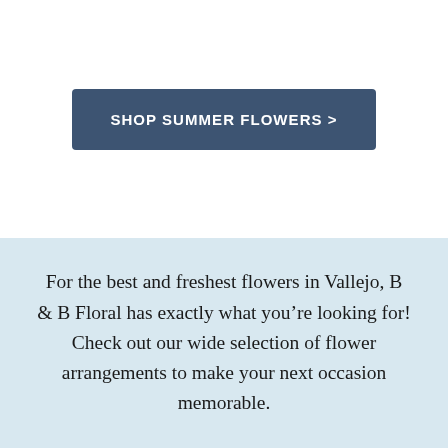[Figure (other): A rectangular button with dark blue-grey background reading 'SHOP SUMMER FLOWERS >' in white uppercase bold text]
For the best and freshest flowers in Vallejo, B & B Floral has exactly what you're looking for! Check out our wide selection of flower arrangements to make your next occasion memorable.